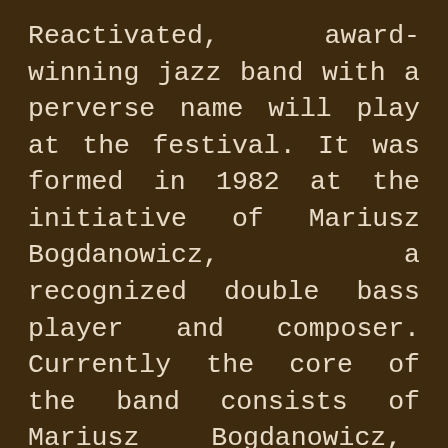Reactivated, award-winning jazz band with a perverse name will play at the festival. It was formed in 1982 at the initiative of Mariusz Bogdanowicz, a recognized double bass player and composer. Currently the core of the band consists of Mariusz Bogdanowicz, Janusz Kowalski and Mirosław Sitkowski. Musicians of younger generation, Dominik Mietła and Tomasz Białowolski were invited to join this line-up. HMS initially drew from the hard-bop tradition, but after some time it widely expanded its style and added their own compositions to the songs of the Kind of